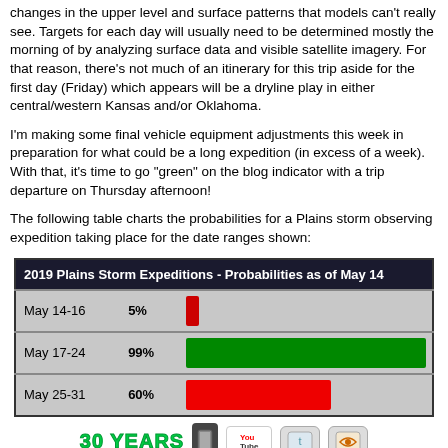changes in the upper level and surface patterns that models can't really see. Targets for each day will usually need to be determined mostly the morning of by analyzing surface data and visible satellite imagery. For that reason, there's not much of an itinerary for this trip aside for the first day (Friday) which appears will be a dryline play in either central/western Kansas and/or Oklahoma.
I'm making some final vehicle equipment adjustments this week in preparation for what could be a long expedition (in excess of a week). With that, it's time to go "green" on the blog indicator with a trip departure on Thursday afternoon!
The following table charts the probabilities for a Plains storm observing expedition taking place for the date ranges shown:
| 2019 Plains Storm Expeditions - Probabilities as of May 14 |
| --- |
| May 14-16 | 5% | [red bar ~5%] |
| May 17-24 | 99% | [green bar ~99%] |
| May 25-31 | 60% | [red bar ~60%] |
[Figure (logo): Footer icons: 30 YEARS logo in green, phone/book icon, YouTube icon, Twitter icon, RSS feed icon]